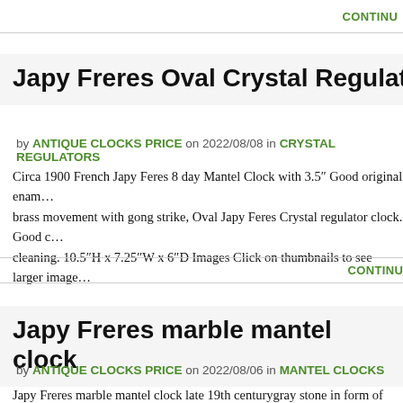CONTIN…
Japy Freres Oval Crystal Regulator Clock
by ANTIQUE CLOCKS PRICE on 2022/08/08 in CRYSTAL REGULATORS
Circa 1900 French Japy Feres 8 day Mantel Clock with 3.5″ Good original enam… brass movement with gong strike, Oval Japy Feres Crystal regulator clock. Good c… cleaning. 10.5″H x 7.25″W x 6″D Images Click on thumbnails to see larger image…
CONTINU…
Japy Freres marble mantel clock
by ANTIQUE CLOCKS PRICE on 2022/08/06 in MANTEL CLOCKS
Japy Freres marble mantel clock late 19th centurygray stone in form of Gothic arc…